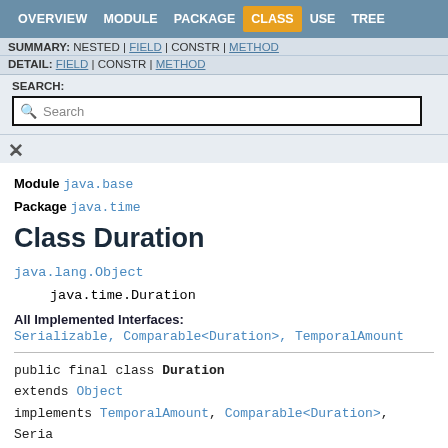OVERVIEW  MODULE  PACKAGE  CLASS  USE  TREE
SUMMARY: NESTED | FIELD | CONSTR | METHOD
DETAIL: FIELD | CONSTR | METHOD
SEARCH:
Module java.base
Package java.time
Class Duration
java.lang.Object
    java.time.Duration
All Implemented Interfaces:
Serializable, Comparable<Duration>, TemporalAmount
public final class Duration
extends Object
implements TemporalAmount, Comparable<Duration>, Seria